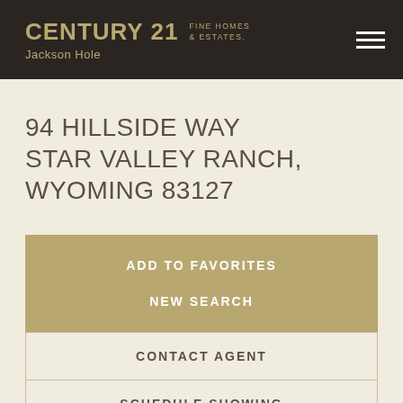CENTURY 21 FINE HOMES & ESTATES. Jackson Hole
94 HILLSIDE WAY
STAR VALLEY RANCH, WYOMING 83127
ADD TO FAVORITES
NEW SEARCH
CONTACT AGENT
SCHEDULE SHOWING
MORTGAGE CALCULATOR